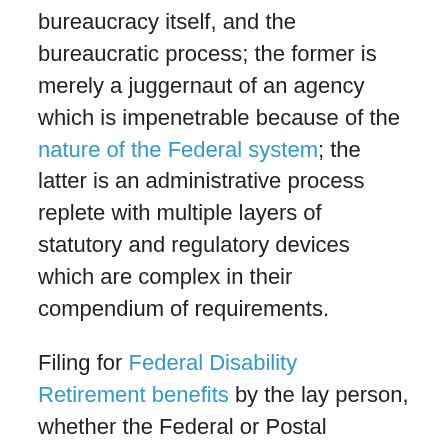bureaucracy itself, and the bureaucratic process; the former is merely a juggernaut of an agency which is impenetrable because of the nature of the Federal system; the latter is an administrative process replete with multiple layers of statutory and regulatory devices which are complex in their compendium of requirements.
Filing for Federal Disability Retirement benefits by the lay person, whether the Federal or Postal employee is under FERS, CSRS or CSRS Offset, is a complex, puzzling and often overwhelming process.  It can be likened to handing a complex transactional law case involving multiple Fortune 500 companies attempting to merge for purposes of avoiding specific legal entanglements to a first-year associate; mistakes are bound to be made, as one fails to recognize the inherent complexities or the need to draft